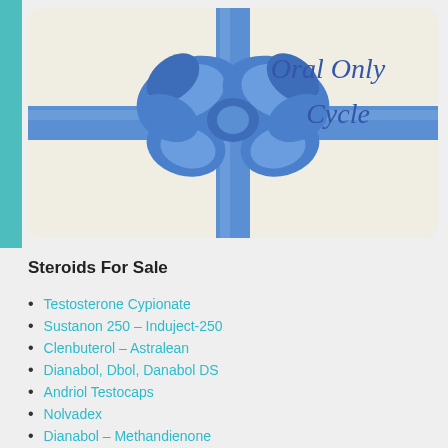[Figure (illustration): Gift box with blue ribbon bow on a cream/beige background with cursive text reading 'Oral Only Cycle' in blue]
Steroids For Sale
Testosterone Cypionate
Sustanon 250 – Induject-250
Clenbuterol – Astralean
Dianabol, Dbol, Danabol DS
Andriol Testocaps
Nolvadex
Dianabol – Methandienone
Winstrol